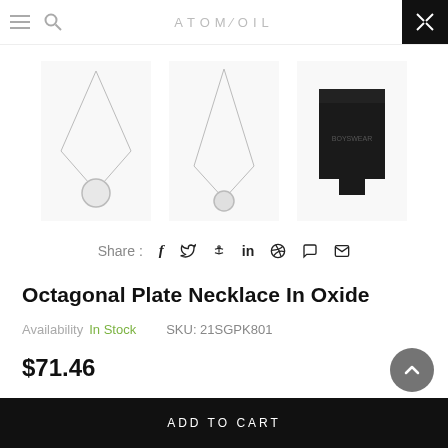Navigation bar with menu, search icons, ATOM/OIL logo, and expand button
[Figure (photo): Three product thumbnail images: two necklace views and a black product box]
Share :  f  Twitter  Pinterest  in  WhatsApp  Email
Octagonal Plate Necklace In Oxide
Availability In Stock      SKU: 21SGPK801
$71.46
− 1 +   ADD TO CART
ADD TO CART